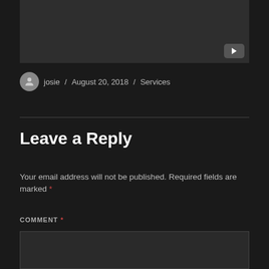[Figure (screenshot): Dark video placeholder with YouTube play button in bottom-right corner]
josie / August 20, 2018 / Services
Leave a Reply
Your email address will not be published. Required fields are marked *
COMMENT *